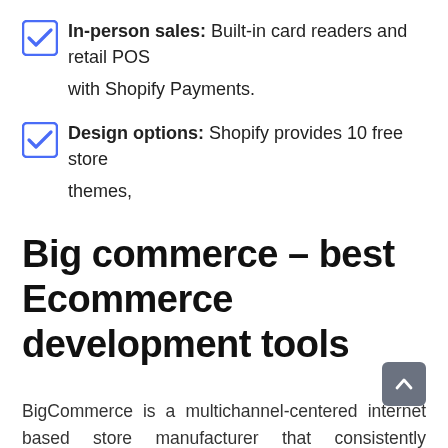In-person sales: Built-in card readers and retail POS with Shopify Payments.
Design options: Shopify provides 10 free store themes,
Big commerce – best Ecommerce development tools
BigCommerce is a multichannel-centered internet based store manufacturer that consistently incorporates with